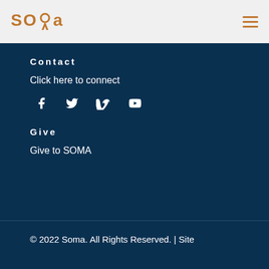SOMA
Contact
Click here to connect
[Figure (illustration): Social media icons: Facebook, Twitter, Vimeo, YouTube]
Give
Give to SOMA
© 2022 Soma. All Rights Reserved. | Site